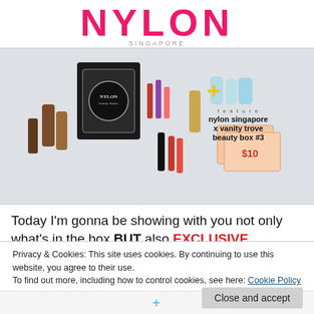NYLON SINGAPORE
[Figure (photo): A flat lay photo of beauty products including lipsticks, skincare bottles, and a black Nylon beauty box on a light background. Overlay text reads 'feature nylon singapore x vanity trove beauty box #3' with a yellow plus sign.]
Today I'm gonna be showing with you not only what's in the box BUT also EXCLUSIVE discount code for NYLON
Privacy & Cookies: This site uses cookies. By continuing to use this website, you agree to their use.
To find out more, including how to control cookies, see here: Cookie Policy
Close and accept